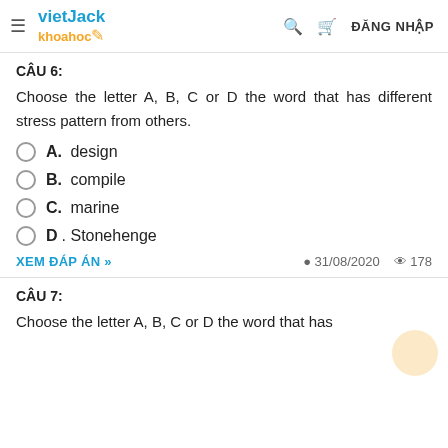vietJack khoahoc / ĐĂNG NHẬP
CÂU 6:
Choose the letter A, B, C or D the word that has different stress pattern from others.
A. design
B. compile
C. marine
D. Stonehenge
XEM ĐÁP ÁN »   31/08/2020   178
CÂU 7:
Choose the letter A, B, C or D the word that has